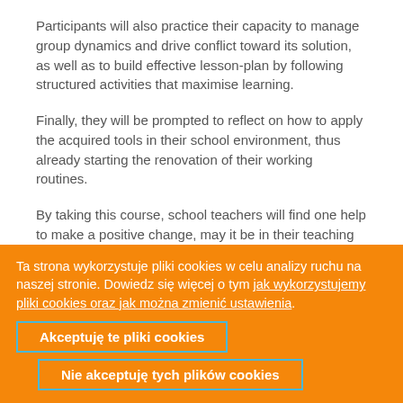Participants will also practice their capacity to manage group dynamics and drive conflict toward its solution, as well as to build effective lesson-plan by following structured activities that maximise learning.
Finally, they will be prompted to reflect on how to apply the acquired tools in their school environment, thus already starting the renovation of their working routines.
By taking this course, school teachers will find one help to make a positive change, may it be in their teaching processes, in the way students are involved, and/or in
Ta strona wykorzystuje pliki cookies w celu analizy ruchu na naszej stronie. Dowiedz się więcej o tym jak wykorzystujemy pliki cookies oraz jak można zmienić ustawienia.
Akceptuję te pliki cookies
Nie akceptuję tych plików cookies